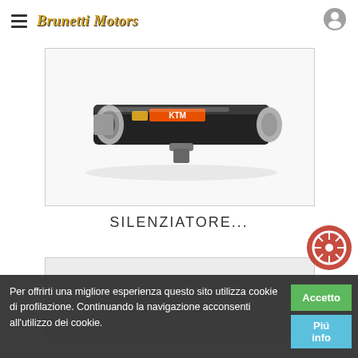Brunetti Motors
[Figure (photo): KTM motorcycle exhaust silencer muffler in black and silver with orange KTM branding]
SILENZIATORE...
[Figure (photo): Second product image, partially visible at bottom]
Per offrirti una migliore esperienza questo sito utilizza cookie di profilazione. Continuando la navigazione acconsenti all'utilizzo dei cookie.